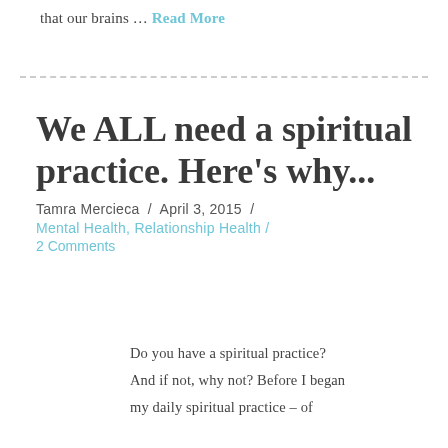that our brains … Read More
We ALL need a spiritual practice. Here's why...
Tamra Mercieca / April 3, 2015 /
Mental Health, Relationship Health / 2 Comments
Do you have a spiritual practice? And if not, why not? Before I began my daily spiritual practice – of